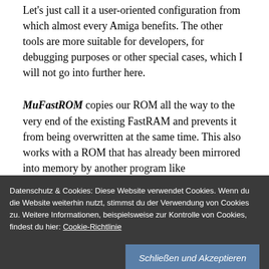Let's just call it a user-oriented configuration from which almost every Amiga benefits. The other tools are more suitable for developers, for debugging purposes or other special cases, which I will not go into further here.
MuFastROM copies our ROM all the way to the very end of the existing FastRAM and prevents it from being overwritten at the same time. This also works with a ROM that has already been mirrored into memory by another program like ACAMapROM. Sounds vital, doesn't it?! Indeed it is!
Datenschutz & Cookies: Diese Website verwendet Cookies. Wenn du die Website weiterhin nutzt, stimmst du der Verwendung von Cookies zu. Weitere Informationen, beispielsweise zur Kontrolle von Cookies, findest du hier: Cookie-Richtlinie
Schließen und Akzeptieren
very helpful.